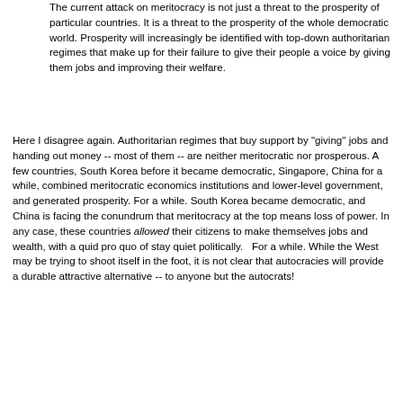The current attack on meritocracy is not just a threat to the prosperity of particular countries. It is a threat to the prosperity of the whole democratic world. Prosperity will increasingly be identified with top-down authoritarian regimes that make up for their failure to give their people a voice by giving them jobs and improving their welfare.
Here I disagree again. Authoritarian regimes that buy support by "giving" jobs and handing out money -- most of them -- are neither meritocratic nor prosperous. A few countries, South Korea before it became democratic, Singapore, China for a while, combined meritocratic economics institutions and lower-level government, and generated prosperity. For a while. South Korea became democratic, and China is facing the conundrum that meritocracy at the top means loss of power. In any case, these countries allowed their citizens to make themselves jobs and wealth, with a quid pro quo of stay quiet politically.   For a while. While the West may be trying to shoot itself in the foot, it is not clear that autocracies will provide a durable attractive alternative -- to anyone but the autocrats!